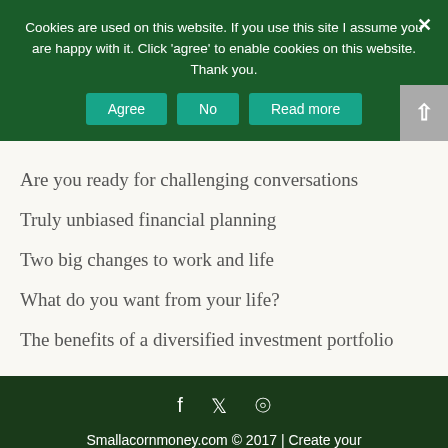Cookies are used on this website. If you use this site I assume you are happy with it. Click 'agree' to enable cookies on this website. Thank you.
Agree | No | Read more
Are you ready for challenging conversations
Truly unbiased financial planning
Two big changes to work and life
What do you want from your life?
The benefits of a diversified investment portfolio
Smallacornmoney.com © 2017 | Create your financial plan | Legal Information
Share This